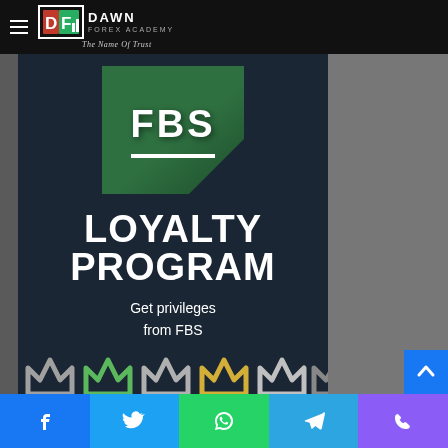[Figure (logo): Dawn Forex Academy logo with hamburger menu on black navigation bar. Logo shows DF with bar chart icon, text DAWN FOREX ACADEMY, tagline The Name Of Trust in italic.]
[Figure (infographic): FBS Loyalty Program promotional graphic on dark navy background. Shows FBS logo in green square at top, bold white text LOYALTY PROGRAM, subtitle Get privileges from FBS, and crown/chevron icons at the bottom in various metallic colors (silver, green, gold, platinum).]
[Figure (other): Social media sharing bar at bottom with Facebook (blue), Twitter (light blue), WhatsApp (green), Telegram (blue), Phone (purple) buttons.]